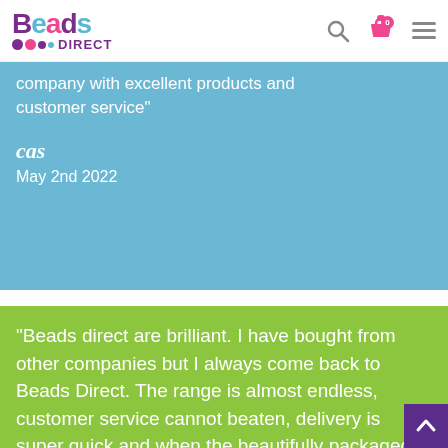Beads Direct
company with excellent products and customer service"
cas
May 2nd 2022
"Beads direct are brilliant. I have bought from other companies but I always come back to Beads Direct. The range is almost endless, customer service cannot beaten, delivery is super quick and when the beautifully packaged parcel arrives - it is